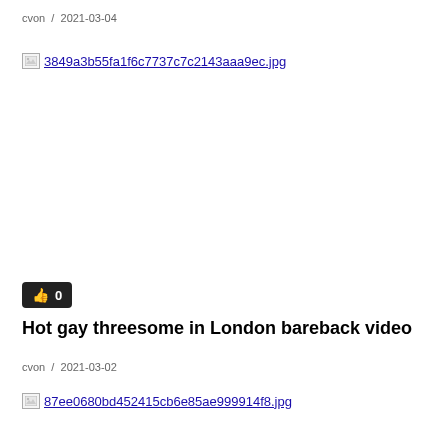cvon  /  2021-03-04
[Figure (photo): Broken image placeholder: 3849a3b55fa1f6c7737c7c2143aaa9ec.jpg]
👍 0
Hot gay threesome in London bareback video
cvon  /  2021-03-02
[Figure (photo): Broken image placeholder: 87ee0680bd452415cb6e85ae999914f8.jpg]